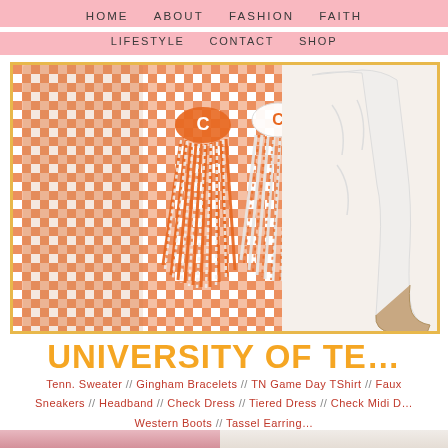HOME   ABOUT   FASHION   FAITH
LIFESTYLE   CONTACT   SHOP
[Figure (photo): Collage of University of Tennessee gameday fashion items including orange gingham shorts, orange and white tassel earrings, and white western cowboy boots against a white background with gold border]
UNIVERSITY OF TE...
Tenn. Sweater // Gingham Bracelets // TN Game Day TShirt // Faux Sneakers // Headband // Check Dress // Tiered Dress // Check Midi Dress // Western Boots // Tassel Earrings
[Figure (photo): Bottom section showing a blonde woman wearing red and a pair of white and red beaded letter earrings on the right side]